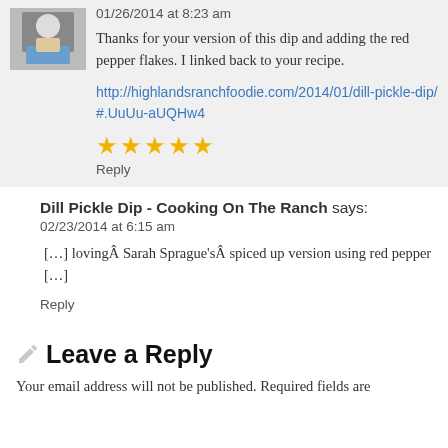01/26/2014 at 8:23 am
Thanks for your version of this dip and adding the red pepper flakes. I linked back to your recipe.
http://highlandsranchfoodie.com/2014/01/dill-pickle-dip/#.UuUu-aUQHw4
[Figure (other): 5 gold star rating icons]
Reply
Dill Pickle Dip - Cooking On The Ranch says:
02/23/2014 at 6:15 am
[…] lovingÂ Sarah Sprague'sÂ spiced up version using red pepper […]
Reply
Leave a Reply
Your email address will not be published. Required fields are